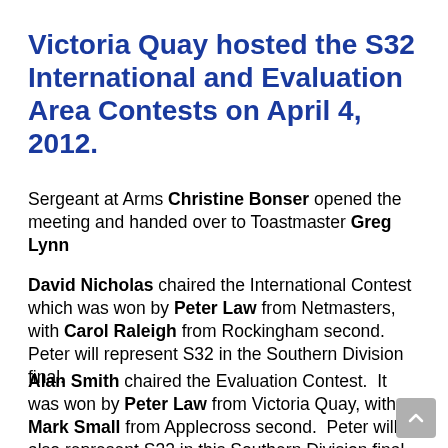Victoria Quay hosted the S32 International and Evaluation Area Contests on April 4, 2012.
Sergeant at Arms Christine Bonser opened the meeting and handed over to Toastmaster Greg Lynn
David Nicholas chaired the International Contest which was won by Peter Law from Netmasters, with Carol Raleigh from Rockingham second.  Peter will represent S32 in the Southern Division final.
Alan Smith chaired the Evaluation Contest.  It was won by Peter Law from Victoria Quay, with Mark Small from Applecross second.  Peter will also represent S32 in this Southern Division final.